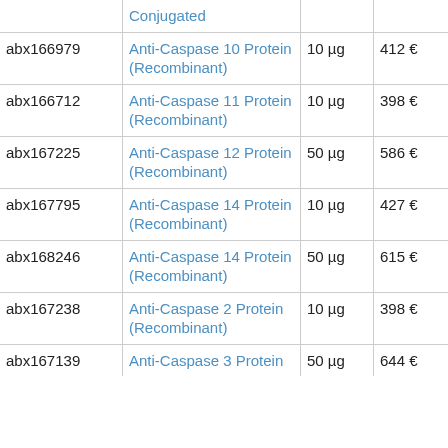| ID | Product | Size | Price | Supplier | Species |
| --- | --- | --- | --- | --- | --- |
|  | Conjugated |  |  |  |  |
| abx166979 | Anti-Caspase 10 Protein (Recombinant) | 10 µg | 412 € | abbex | human |
| abx166712 | Anti-Caspase 11 Protein (Recombinant) | 10 µg | 398 € | abbex | human |
| abx167225 | Anti-Caspase 12 Protein (Recombinant) | 50 µg | 586 € | abbex | human |
| abx167795 | Anti-Caspase 14 Protein (Recombinant) | 10 µg | 427 € | abbex | human |
| abx168246 | Anti-Caspase 14 Protein (Recombinant) | 50 µg | 615 € | abbex | human |
| abx167238 | Anti-Caspase 2 Protein (Recombinant) | 10 µg | 398 € | abbex | human |
| abx167139 | Anti-Caspase 3 Protein | 50 µg | 644 € | abbex | human |